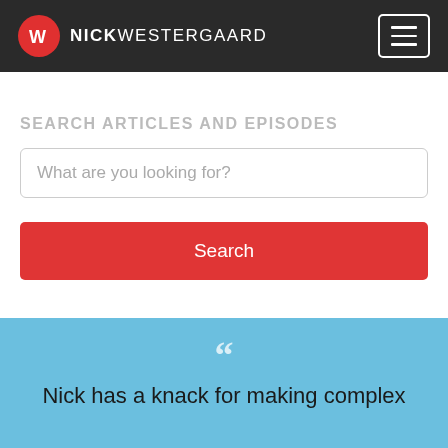[Figure (logo): Nick Westergaard logo with red circular W icon and white text NICKWESTERGAARD on dark navigation bar, with hamburger menu button on right]
SEARCH ARTICLES AND EPISODES
What are you looking for?
Search
““ Nick has a knack for making complex